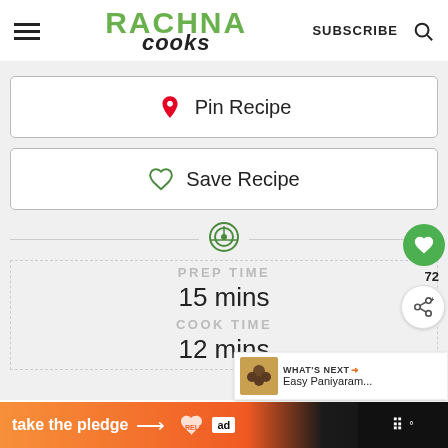RACHNA COOKS — SUBSCRIBE
[Figure (screenshot): Pin Recipe button with Pinterest heart icon]
[Figure (screenshot): Save Recipe button with green heart icon]
PREP TIME
15 mins
COOK TIME
12 mins
take the pledge →